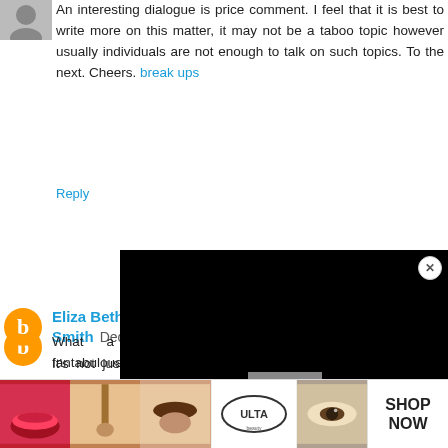[Figure (photo): Small avatar/thumbnail photo of a person in top-left corner]
An interesting dialogue is price comment. I feel that it is best to write more on this matter, it may not be a taboo topic however usually individuals are not enough to talk on such topics. To the next. Cheers. break ups
Reply
Smith  December 9, 2018 at 4:30 AM
It's not justified, despite any potential benefits and it will just hinder conceivable matches later on.  gaysgodating review
Reply
[Figure (screenshot): Black video overlay covering right portion of page with X close button]
Eliza Beth  January 1, 2019 at
What a fantabulous post this has been. Never seen this kind of useful post. I am grateful to you and expect more number of posts like these. Thank you very much. تعارف و زواج
Reply
CLOSE
[Figure (photo): Ad strip at bottom showing makeup/beauty product images with ULTA logo and SHOP NOW button]